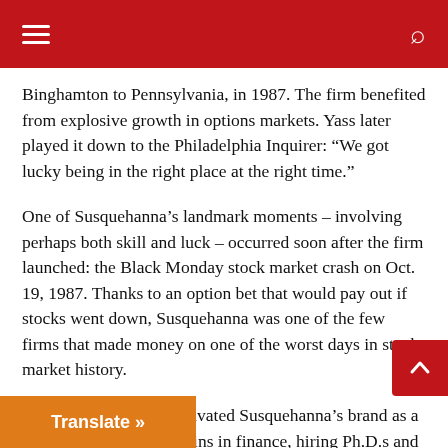Binghamton to Pennsylvania, in 1987. The firm benefited from explosive growth in options markets. Yass later played it down to the Philadelphia Inquirer: “We got lucky being in the right place at the right time.”
One of Susquehanna’s landmark moments – involving perhaps both skill and luck – occurred soon after the firm launched: the Black Monday stock market crash on Oct. 19, 1987. Thanks to an option bet that would pay out if stocks went down, Susquehanna was one of the few firms that made money on one of the worst days in stock market history.
From early on, Yass cultivated Susquehanna’s brand as a home for the biggest brains in finance, hiring Ph.D.s and top students. But the firm wasn’t just looking for raw IQ points. It also wanted instinct. It held poker tournaments to teach traders the idea that taking the measure of your opponents is as important as understanding the